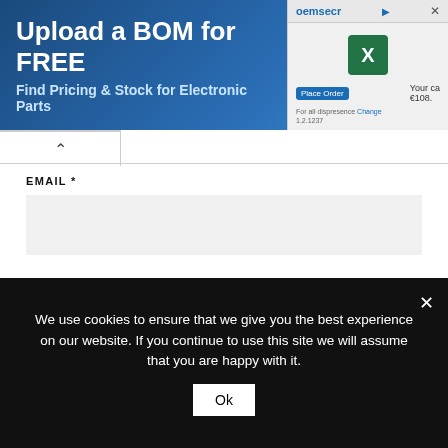[Figure (screenshot): Advertisement banner with dark blue gradient background. Text reads 'Upload a BOM for FREE' and 'Find Pricing & Stock for Electronic Parts'. Right side shows a partial OEMsecrets website screenshot with an Excel icon, Place Order button, price €108, and cart details.]
EMAIL *
WEBSITE
We use cookies to ensure that we give you the best experience on our website. If you continue to use this site we will assume that you are happy with it.